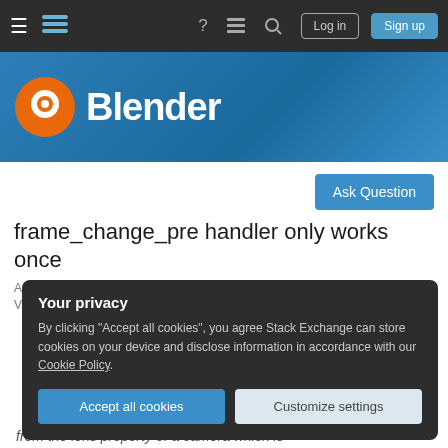Blender Stack Exchange navigation bar with Log in and Sign up buttons
[Figure (logo): Blender Stack Exchange site logo with orange location pin icon and white Blender text on blue banner background]
Ask Question
frame_change_pre handler only works once
Asked 6 years, 11 months ago   Modified 6 years, 10 months ago
Viewed 2k times
Your privacy
By clicking "Accept all cookies", you agree Stack Exchange can store cookies on your device and disclose information in accordance with our Cookie Policy.
Accept all cookies   Customize settings
from the lens property of a camera which is